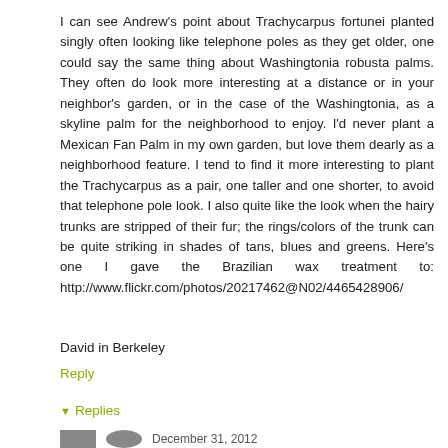I can see Andrew's point about Trachycarpus fortunei planted singly often looking like telephone poles as they get older, one could say the same thing about Washingtonia robusta palms. They often do look more interesting at a distance or in your neighbor's garden, or in the case of the Washingtonia, as a skyline palm for the neighborhood to enjoy. I'd never plant a Mexican Fan Palm in my own garden, but love them dearly as a neighborhood feature. I tend to find it more interesting to plant the Trachycarpus as a pair, one taller and one shorter, to avoid that telephone pole look. I also quite like the look when the hairy trunks are stripped of their fur; the rings/colors of the trunk can be quite striking in shades of tans, blues and greens. Here's one I gave the Brazilian wax treatment to: http://www.flickr.com/photos/20217462@N02/4465428906/
David in Berkeley
Reply
Replies